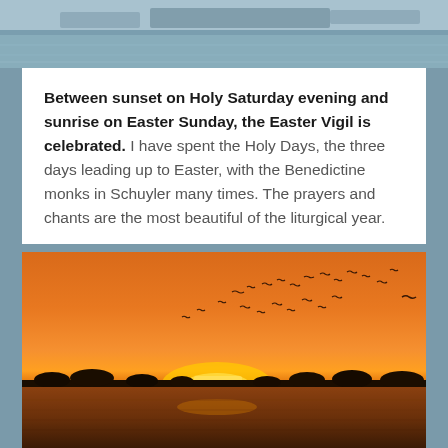[Figure (photo): Winter landscape with water and trees visible in the background, muted blue-gray tones, appears to be a flooded field or frozen water scene.]
Between sunset on Holy Saturday evening and sunrise on Easter Sunday, the Easter Vigil is celebrated. I have spent the Holy Days, the three days leading up to Easter, with the Benedictine monks in Schuyler many times. The prayers and chants are the most beautiful of the liturgical year.
[Figure (photo): Sunset over a flat water landscape with birds flying in silhouette against a vivid orange sky. Treeline and water reflections visible at the horizon.]